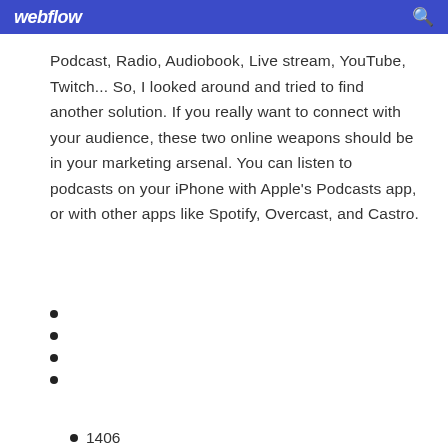webflow
Podcast, Radio, Audiobook, Live stream, YouTube, Twitch... So, I looked around and tried to find another solution. If you really want to connect with your audience, these two online weapons should be in your marketing arsenal. You can listen to podcasts on your iPhone with Apple's Podcasts app, or with other apps like Spotify, Overcast, and Castro.
1406